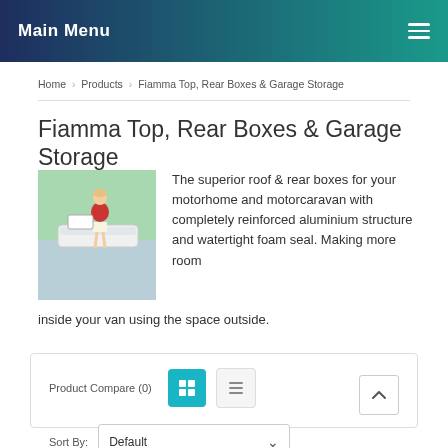Main Menu
Home > Products > Fiamma Top, Rear Boxes & Garage Storage
Fiamma Top, Rear Boxes & Garage Storage
[Figure (photo): Person loading items into a roof box on a motorhome]
The superior roof & rear boxes for your motorhome and motorcaravan with completely reinforced aluminium structure and watertight foam seal. Making more room inside your van using the space outside.
Product Compare (0)
Sort By: Default